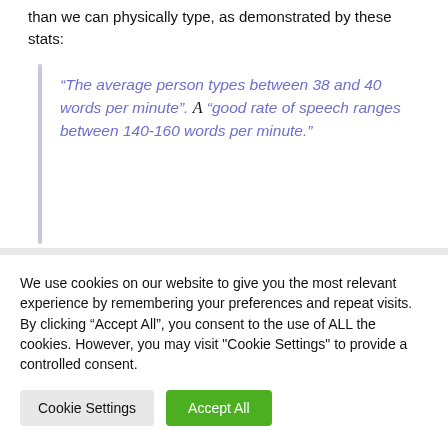than we can physically type, as demonstrated by these stats:
“The average person types between 38 and 40 words per minute”. A “good rate of speech ranges between 140-160 words per minute.”
We use cookies on our website to give you the most relevant experience by remembering your preferences and repeat visits. By clicking “Accept All”, you consent to the use of ALL the cookies. However, you may visit "Cookie Settings" to provide a controlled consent.